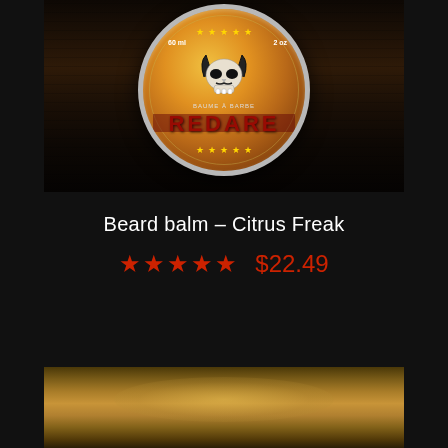[Figure (photo): Product photo of a round tin of beard balm with decorative skull and red label reading REDARE, placed on dark wood surface]
Beard balm – Citrus Freak
★★★★★  $22.49
[Figure (photo): Bottom portion of a golden/brown blurred product image background]